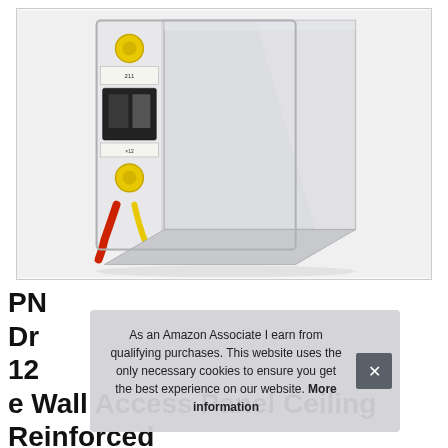[Figure (photo): Product photo of a white metal wall access panel shown partially open, revealing electrical components including circuit breakers and wiring (yellow, red cables) inside. The panel door is open at an angle showing the interior contents.]
PN Dr 12 e Wall Access Panel Ceiling Reinforced
As an Amazon Associate I earn from qualifying purchases. This website uses the only necessary cookies to ensure you get the best experience on our website. More information